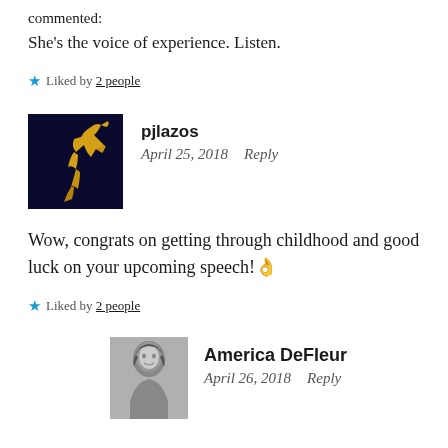commented:
She’s the voice of experience. Listen.
★ Liked by 2 people
pjlazos
April 25, 2018   Reply
Wow, congrats on getting through childhood and good luck on your upcoming speech! 👌
★ Liked by 2 people
America DeFleur
April 26, 2018   Reply